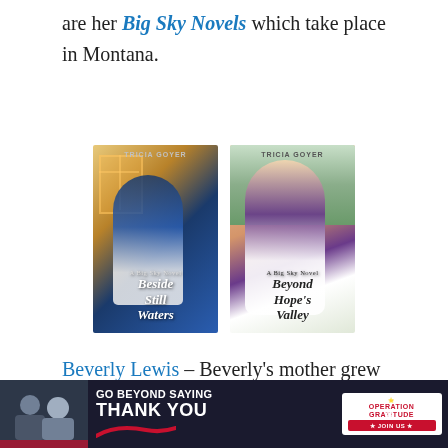are her Big Sky Novels which take place in Montana.
[Figure (photo): Two book covers by Tricia Goyer: 'Beside Still Waters' (left, showing an Amish woman at a window) and 'Beyond Hope's Valley' (right, showing an Amish woman holding flowers outdoors).]
Beverly Lewis – Beverly's mother grew up in the Amish community and that has fueled her desire to write extensively about them. She recommends you read her Heritage of Lancaster County series
[Figure (photo): Advertisement banner: 'Go Beyond Saying Thank You' – Operation Gratitude, Join Us.]